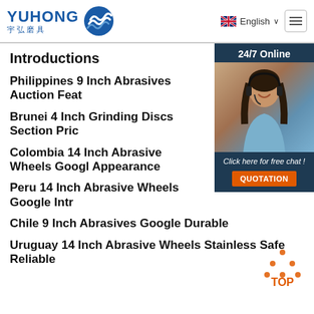[Figure (logo): Yuhong logo with blue wave icon and Chinese text 宇弘磨具]
English ∨ [hamburger menu]
Introductions
Philippines 9 Inch Abrasives Auction Feat
Brunei 4 Inch Grinding Discs Section Pric
Colombia 14 Inch Abrasive Wheels Googl Appearance
Peru 14 Inch Abrasive Wheels Google Intr
Chile 9 Inch Abrasives Google Durable
Uruguay 14 Inch Abrasive Wheels Stainless Safe Reliable
[Figure (photo): 24/7 Online chat widget with woman wearing headset, Click here for free chat, QUOTATION button]
[Figure (other): TOP scroll-to-top button with orange dot triangle logo]